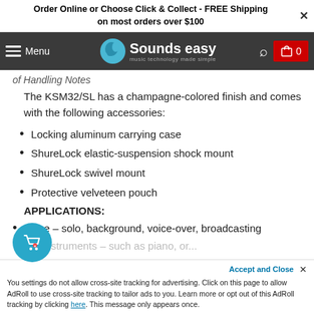Order Online or Choose Click & Collect - FREE Shipping on most orders over $100
[Figure (logo): Sounds easy - music technology made simple logo with elephant icon on dark grey navbar]
of Handling Notes
The KSM32/SL has a champagne-colored finish and comes with the following accessories:
Locking aluminum carrying case
ShureLock elastic-suspension shock mount
ShureLock swivel mount
Protective velveteen pouch
APPLICATIONS:
Voice – solo, background, voice-over, broadcasting
You settings do not allow cross-site tracking for advertising. Click on this page to allow AdRoll to use cross-site tracking to tailor ads to you. Learn more or opt out of this AdRoll tracking by clicking here. This message only appears once.